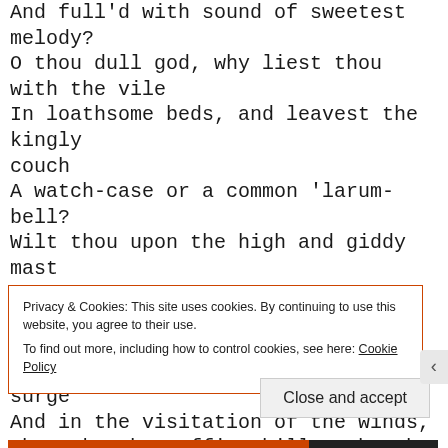And full'd with sound of sweetest melody? O thou dull god, why liest thou with the vile In loathsome beds, and leavest the kingly couch A watch-case or a common 'larum-bell? Wilt thou upon the high and giddy mast Seal up the ship-boy's eyes, and rock his brains In cradle of the rude imperious surge And in the visitation of the winds, Who take the ruffian billows by the top, Curling their monstrous heads and hanging them
Privacy & Cookies: This site uses cookies. By continuing to use this website, you agree to their use. To find out more, including how to control cookies, see here: Cookie Policy
Close and accept